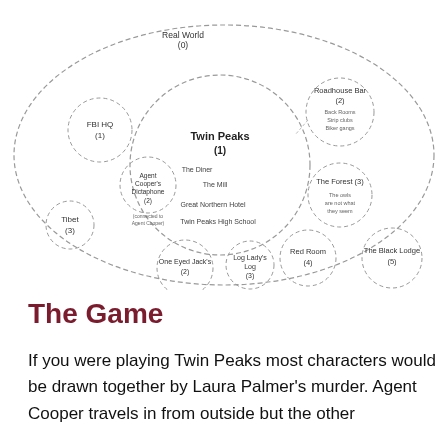[Figure (network-graph): A network diagram showing nested and connected circles representing locations/spaces in Twin Peaks. Central large circle labeled 'Twin Peaks (1)' contains 'The Diner', 'The Mill', 'Great Northern Hotel', 'Twin Peaks High School'. Surrounding circles include 'Real World (0)' (outer dashed), 'FBI HQ (1)', 'Agent Cooper's Dictaphone (2)', 'Tibet (3)', 'One Eyed Jack's (2)', 'Log Lady's Log (3)', 'Red Room (4)', 'The Black Lodge (5)', 'Roadhouse Bar (2)' with sub-items 'Back Rooms, Strip clubs, Biker gangs', 'The Forest (3)' with note 'The owls are not what they seem'.]
The Game
If you were playing Twin Peaks most characters would be drawn together by Laura Palmer's murder. Agent Cooper travels in from outside but the other